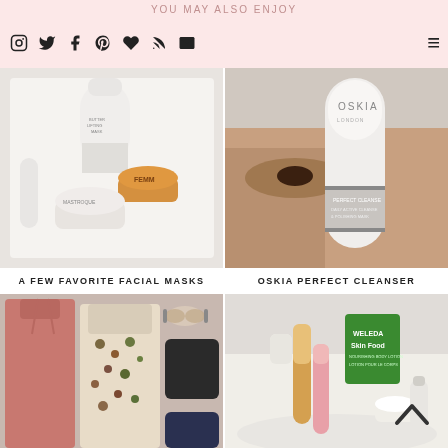YOU MAY ALSO ENJOY
[Figure (photo): Flat lay of facial mask products including Butter Lifting Mask, Femmue, and Mastroque jars on a white tray]
[Figure (photo): Oskia London Perfect Cleanser tube product photo with model eye visible in background]
A FEW FAVORITE FACIAL MASKS
OSKIA PERFECT CLEANSER
[Figure (photo): Fashion flat lay with pink jumpsuit, floral midi dress, sunglasses, black crop top, navy crop top, and other accessories]
[Figure (photo): Skincare product flatlay featuring Weleda Skin Food, Kiehl's, and other beauty products on white marble]